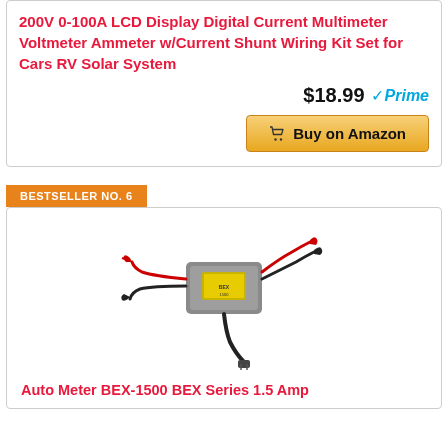200V 0-100A LCD Display Digital Current Multimeter Voltmeter Ammeter w/Current Shunt Wiring Kit Set for Cars RV Solar System
$18.99
Buy on Amazon
BESTSELLER NO. 6
[Figure (photo): Auto Meter BEX-1500 battery charger/maintainer with red and black alligator clamp cables and plug]
Auto Meter BEX-1500 BEX Series 1.5 Amp